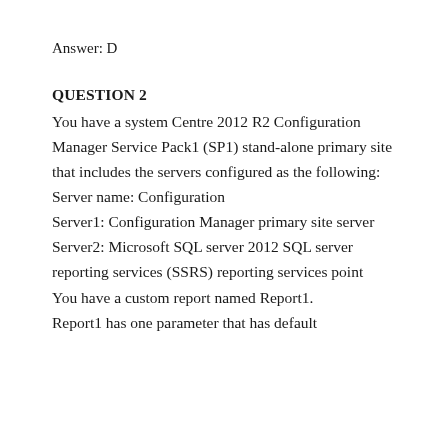Answer: D
QUESTION 2
You have a system Centre 2012 R2 Configuration Manager Service Pack1 (SP1) stand-alone primary site that includes the servers configured as the following:
Server name: Configuration
Server1: Configuration Manager primary site server
Server2: Microsoft SQL server 2012 SQL server reporting services (SSRS) reporting services point
You have a custom report named Report1.
Report1 has one parameter that has default